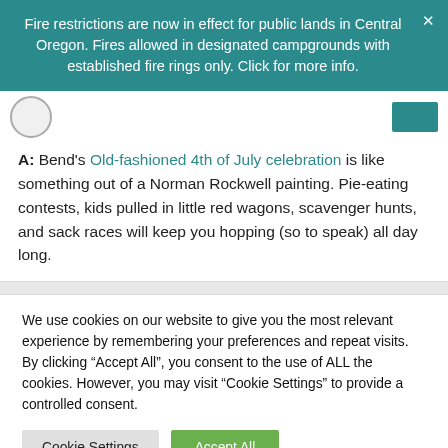Fire restrictions are now in effect for public lands in Central Oregon. Fires allowed in designated campgrounds with established fire rings only. Click for more info.
A: Bend's Old-fashioned 4th of July celebration is like something out of a Norman Rockwell painting. Pie-eating contests, kids pulled in little red wagons, scavenger hunts, and sack races will keep you hopping (so to speak) all day long.
We use cookies on our website to give you the most relevant experience by remembering your preferences and repeat visits. By clicking "Accept All", you consent to the use of ALL the cookies. However, you may visit "Cookie Settings" to provide a controlled consent.